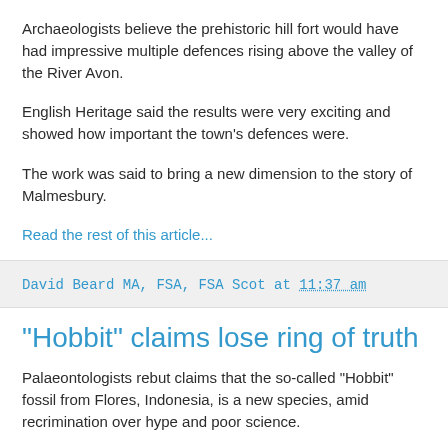Archaeologists believe the prehistoric hill fort would have had impressive multiple defences rising above the valley of the River Avon.
English Heritage said the results were very exciting and showed how important the town's defences were.
The work was said to bring a new dimension to the story of Malmesbury.
Read the rest of this article...
David Beard MA, FSA, FSA Scot at 11:37 am
"Hobbit" claims lose ring of truth
Palaeontologists rebut claims that the so-called "Hobbit" fossil from Flores, Indonesia, is a new species, amid recrimination over hype and poor science.